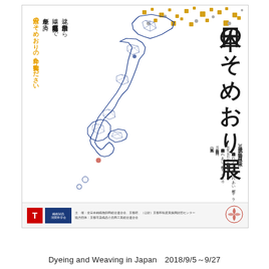[Figure (illustration): Japanese dyeing and weaving exhibition poster featuring a map of Japan drawn with geometric fabric patterns (sashiko-style), gold and gray decorative dots scattered across the top, vertical Japanese calligraphic title text reading 日本のそめおり展, subtitle text listing regions from Yonezawa City in Yamagata Prefecture to Amami City and Tatsugō Town in Kagoshima Prefecture, date information for 2018/9/5~9/27, venue information, and organizational logos at the bottom.]
Dyeing and Weaving in Japan　2018/9/5～9/27